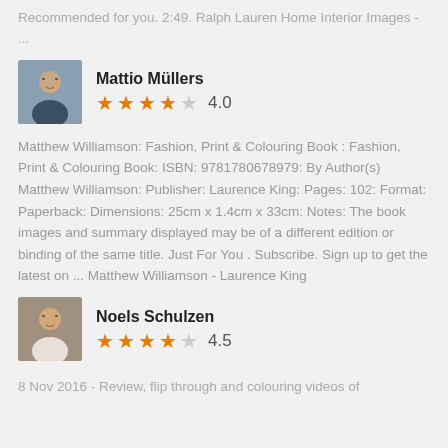Recommended for you. 2:49. Ralph Lauren Home Interior Images - ...
Mattio Müllers
★★★★☆ 4.0
Matthew Williamson: Fashion, Print & Colouring Book : Fashion, Print & Colouring Book: ISBN: 9781780678979: By Author(s) Matthew Williamson: Publisher: Laurence King: Pages: 102: Format: Paperback: Dimensions: 25cm x 1.4cm x 33cm: Notes: The book images and summary displayed may be of a different edition or binding of the same title. Just For You . Subscribe. Sign up to get the latest on ... Matthew Williamson - Laurence King
Noels Schulzen
★★★★☆ 4.5
8 Nov 2016 - Review, flip through and colouring videos of